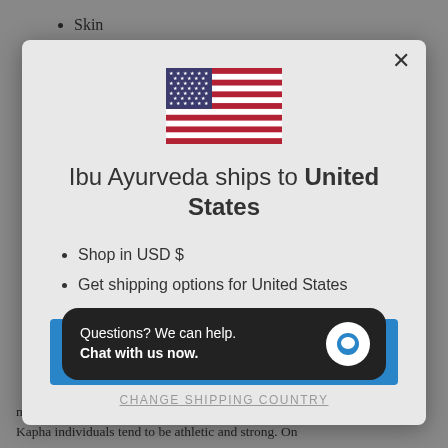Skin
[Figure (screenshot): Modal dialog showing US flag and shipping information for Ibu Ayurveda to United States, with SHOP NOW button]
Shop in USD $
Get shipping options for United States
[Figure (infographic): Chat support bubble: Questions? We can help. Chat with us now.]
most connected to nature and in appearance, Kapha individuals tend to be athletic and strong. On